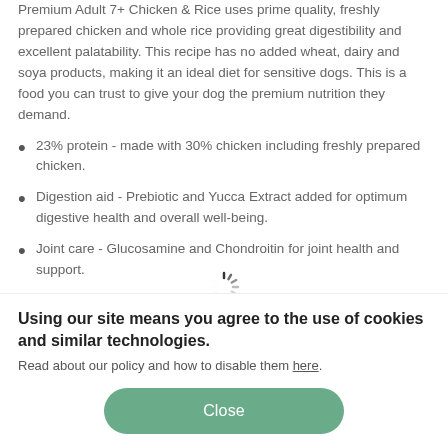Premium Adult 7+ Chicken & Rice uses prime quality, freshly prepared chicken and whole rice providing great digestibility and excellent palatability. This recipe has no added wheat, dairy and soya products, making it an ideal diet for sensitive dogs. This is a food you can trust to give your dog the premium nutrition they demand.
23% protein - made with 30% chicken including freshly prepared chicken.
Digestion aid - Prebiotic and Yucca Extract added for optimum digestive health and overall well-being.
Joint care - Glucosamine and Chondroitin for joint health and support.
Skin and coat - Flaxseed added for omega 3 oils, great for coat
Using our site means you agree to the use of cookies and similar technologies. Read about our policy and how to disable them here.